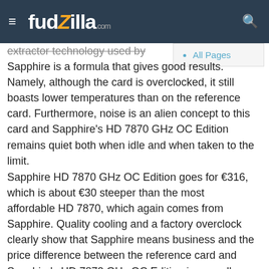fudzilla.com
All Pages
extractor technology used by Sapphire is a formula that gives good results. Namely, although the card is overclocked, it still boasts lower temperatures than on the reference card. Furthermore, noise is an alien concept to this card and Sapphire's HD 7870 GHz OC Edition remains quiet both when idle and when taken to the limit.
Sapphire HD 7870 GHz OC Edition goes for €316, which is about €30 steeper than the most affordable HD 7870, which again comes from Sapphire. Quality cooling and a factory overclock clearly show that Sapphire means business and the price difference between the reference card and Sapphire's HD 7870 GHz OC Edition is a small price to pay for what you